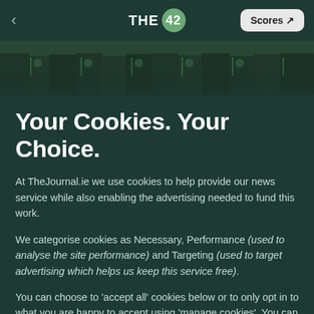THE 42 | Scores
[Figure (photo): Football players standing in a row, visible from waist down, wearing dark uniforms with green stripes, on a training pitch]
Your Cookies. Your Choice.
At TheJournal.ie we use cookies to help provide our news service while also enabling the advertising needed to fund this work.
We categorise cookies as Necessary, Performance (used to analyse the site performance) and Targeting (used to target advertising which helps us keep this service free).
You can choose to 'accept all' cookies below or to only opt in to what you are happy to accept using 'manage cookies'. You can also change your cookie settings at any time and learn more about how we use cookies in